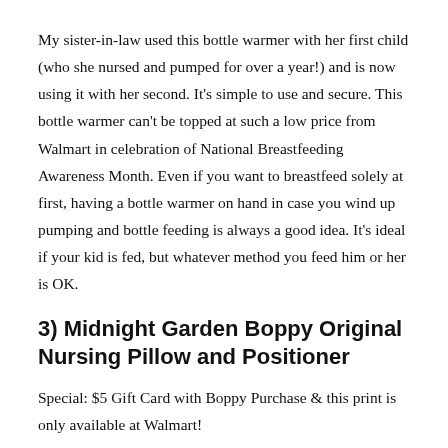My sister-in-law used this bottle warmer with her first child (who she nursed and pumped for over a year!) and is now using it with her second. It’s simple to use and secure. This bottle warmer can’t be topped at such a low price from Walmart in celebration of National Breastfeeding Awareness Month. Even if you want to breastfeed solely at first, having a bottle warmer on hand in case you wind up pumping and bottle feeding is always a good idea. It’s ideal if your kid is fed, but whatever method you feed him or her is OK.
3) Midnight Garden Boppy Original Nursing Pillow and Positioner
Special: $5 Gift Card with Boppy Purchase & this print is only available at Walmart!
Trust me when I say you’ll want a Boppy. Breastfeeding is tiring